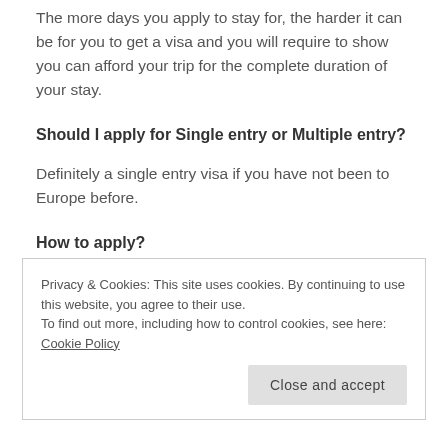The more days you apply to stay for, the harder it can be for you to get a visa and you will require to show you can afford your trip for the complete duration of your stay.
Should I apply for Single entry or Multiple entry?
Definitely a single entry visa if you have not been to Europe before.
How to apply?
Privacy & Cookies: This site uses cookies. By continuing to use this website, you agree to their use.
To find out more, including how to control cookies, see here: Cookie Policy